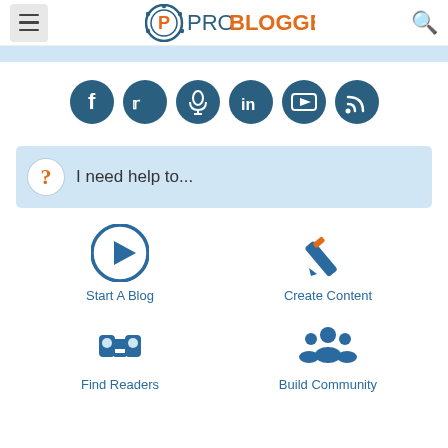ProBlogger navigation header with hamburger menu and search icon
[Figure (logo): ProBlogger logo with circular P icon and orange/dark text]
[Figure (infographic): Social media icon circles: Facebook, Twitter, Podcast, LinkedIn, YouTube, RSS]
I need help to...
Start A Blog
Create Content
Find Readers
Build Community